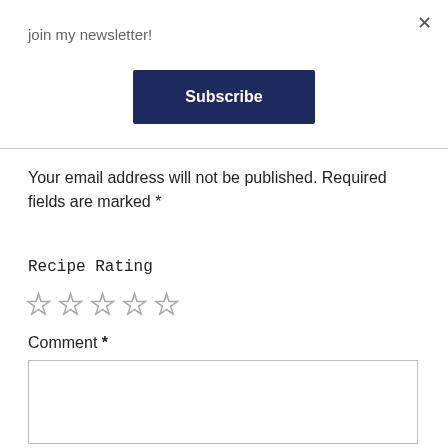join my newsletter!
[Figure (other): Subscribe button with dark navy background and white bold text]
Your email address will not be published. Required fields are marked *
Recipe Rating
[Figure (other): Five empty star icons for recipe rating]
Comment *
[Figure (other): Empty comment text area input box]